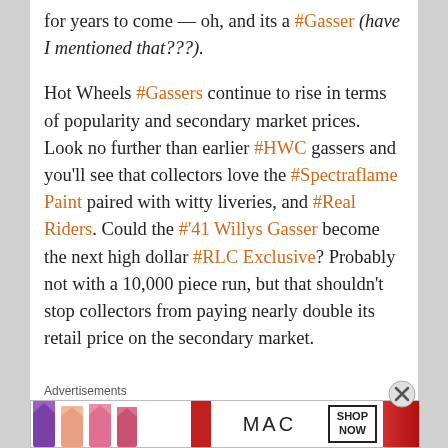for years to come — oh, and its a #Gasser (have I mentioned that???).
Hot Wheels #Gassers continue to rise in terms of popularity and secondary market prices. Look no further than earlier #HWC gassers and you'll see that collectors love the #Spectraflame Paint paired with witty liveries, and #Real Riders. Could the #'41 Willys Gasser become the next high dollar #RLC Exclusive? Probably not with a 10,000 piece run, but that shouldn't stop collectors from paying nearly double its retail price on the secondary market.
[Figure (photo): Two toy cars: a pink gasser car on the left and a grey gasser car on the right, displayed on a light grey background.]
Advertisements
[Figure (other): MAC Cosmetics advertisement banner showing lipsticks in purple, peach, and pink on the left, MAC logo in the center, SHOP NOW button, and red lipstick on the right.]